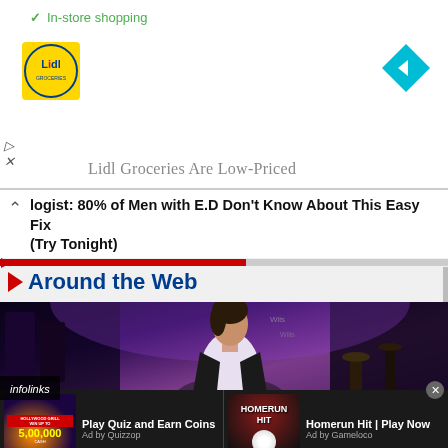✓ In-store shopping
[Figure (logo): Lidl logo - yellow circle with blue Lidl text and red accent]
[Figure (other): Blue diamond navigation arrow icon]
Lidl Groceries Are Low-Priced
logist: 80% of Men with E.D Don't Know About This Easy Fix (Try Tonight)
Around the Web
[Figure (photo): Woman in white shirt and black jacket at what appears to be a casino or bar setting with purple/blue lighting]
infolinks
Play Quiz and Earn Coins
Ad by Quizzop
Homerun Hit | Play Now
Ad by Gameloco